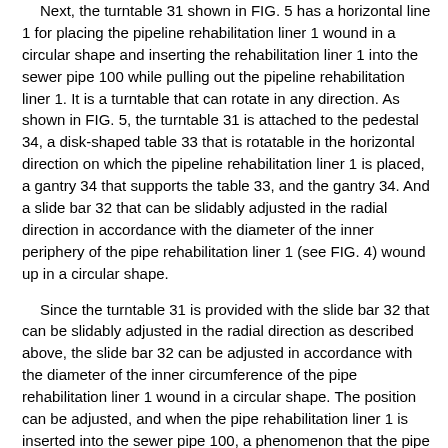Next, the turntable 31 shown in FIG. 5 has a horizontal line 1 for placing the pipeline rehabilitation liner 1 wound in a circular shape and inserting the rehabilitation liner 1 into the sewer pipe 100 while pulling out the pipeline rehabilitation liner 1. It is a turntable that can rotate in any direction. As shown in FIG. 5, the turntable 31 is attached to the pedestal 34, a disk-shaped table 33 that is rotatable in the horizontal direction on which the pipeline rehabilitation liner 1 is placed, a gantry 34 that supports the table 33, and the gantry 34. And a slide bar 32 that can be slidably adjusted in the radial direction in accordance with the diameter of the inner periphery of the pipe rehabilitation liner 1 (see FIG. 4) wound up in a circular shape.
Since the turntable 31 is provided with the slide bar 32 that can be slidably adjusted in the radial direction as described above, the slide bar 32 can be adjusted in accordance with the diameter of the inner circumference of the pipe rehabilitation liner 1 wound in a circular shape. The position can be adjusted, and when the pipe rehabilitation liner 1 is inserted into the sewer pipe 100, a phenomenon that the pipe rehabilitation liner 1 is idle and